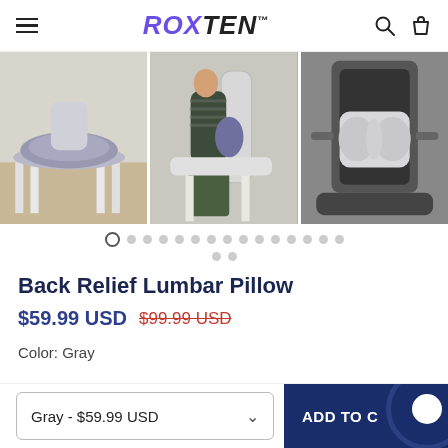ROXTEN™
[Figure (photo): Three product images of Back Relief Lumbar Pillow: seat cushion on chair, person sitting with lumbar support, lumbar pillow on office chair]
Back Relief Lumbar Pillow
$59.99 USD  $99.99 USD (strikethrough)
Color: Gray
Gray - $59.99 USD
ADD TO CART